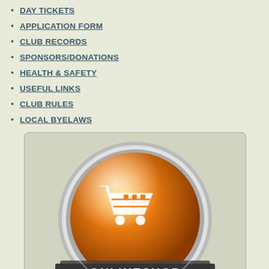DAY TICKETS
APPLICATION FORM
CLUB RECORDS
SPONSORS/DONATIONS
HEALTH & SAFETY
USEFUL LINKS
CLUB RULES
LOCAL BYELAWS
[Figure (illustration): Orange glossy sphere with shopping cart icon and ONLINESHOP text banner]
[Figure (logo): Find us on Facebook banner with blue Facebook logo and text]
At Sapton Angling Association we be healthy, hard fighting fish, not weak use your common sense. If howeve
Before fishing, think about where a f up a steep bank before release.
Once hooked, bring the fish to han sure the fish is able to recover quic
keep handling time to a minimum.
It is best to keep the fish in the wat suitable wet unhooking mat and wor from the fish such as sand, gravel s
Always make sure your hands are w the fish.
If hooks are too deep and removal sh possible.
Upon release, support the fish in the
High water temperatures (over 20 d care when practising catch and rele conditions).